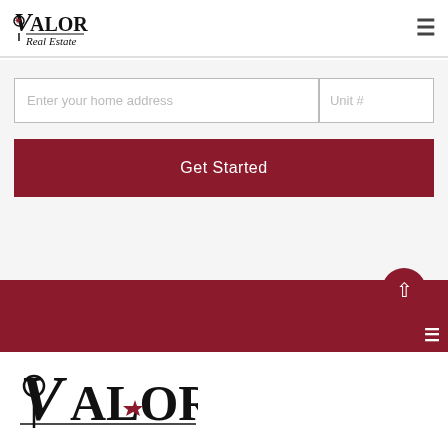Valor Real Estate — navigation header with logo and hamburger menu
[Figure (logo): Valor Real Estate logo in header — black serif text with red star accent]
Enter your home address
Unit #
Get Started
[Figure (logo): Valor Real Estate large logo in footer — black serif text with red star accent]